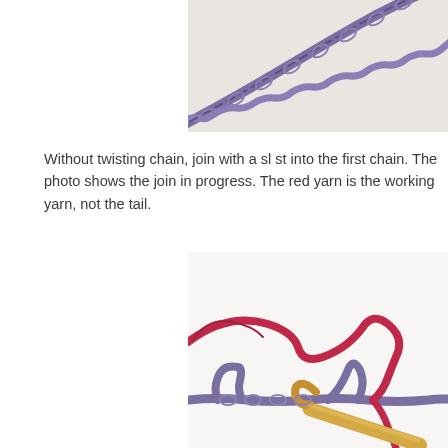[Figure (photo): Close-up photo of purple crochet chain stitches on a light beige/cream background, showing the chain from a diagonal angle.]
Without twisting chain, join with a sl st into the first chain. The photo shows the join in progress. The red yarn is the working yarn, not the tail.
[Figure (photo): Photo showing crochet in progress with a wooden crochet hook, purple yarn chain, and red working yarn looped through stitches being joined with a slip stitch.]